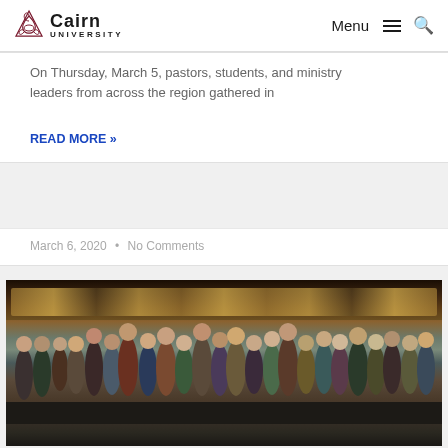Cairn University — Menu / Search navigation
On Thursday, March 5, pastors, students, and ministry leaders from across the region gathered in
READ MORE »
March 6, 2020  •  No Comments
[Figure (photo): Group photo of approximately 30 students and ministry leaders standing outside in front of a building with large glass windows, taken at dusk or late afternoon.]